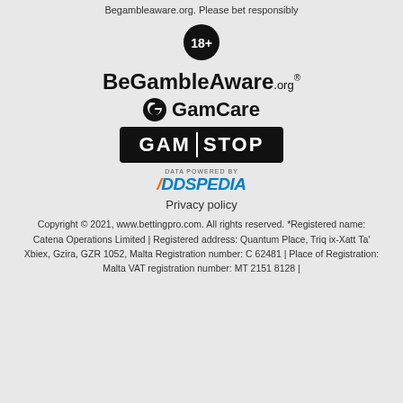Begambleaware.org. Please bet responsibly
[Figure (illustration): Black circle with '18+' text in white]
[Figure (logo): BeGambleAware.org logo]
[Figure (logo): GamCare logo with G icon]
[Figure (logo): GAMSTOP logo - black rectangle with white text GAM STOP]
[Figure (logo): Data Powered by Oddspedia logo]
Privacy policy
Copyright © 2021, www.bettingpro.com. All rights reserved. *Registered name: Catena Operations Limited | Registered address: Quantum Place, Triq ix-Xatt Ta' Xbiex, Gzira, GZR 1052, Malta Registration number: C 62481 | Place of Registration: Malta VAT registration number: MT 2151 8128 |